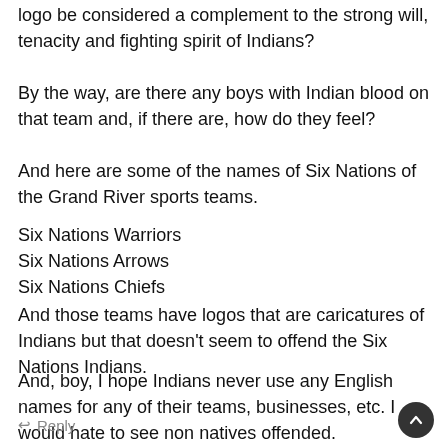logo be considered a complement to the strong will, tenacity and fighting spirit of Indians?
By the way, are there any boys with Indian blood on that team and, if there are, how do they feel?
And here are some of the names of Six Nations of the Grand River sports teams.
Six Nations Warriors
Six Nations Arrows
Six Nations Chiefs
And those teams have logos that are caricatures of Indians but that doesn’t seem to offend the Six Nations Indians.
And, boy, I hope Indians never use any English names for any of their teams, businesses, etc. I would hate to see non natives offended.
← Reply